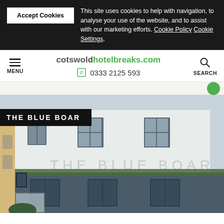This site uses cookies to help with navigation, to analyse your use of the website, and to assist with our marketing efforts. Cookie Policy Cookie Settings.
cotswoldhotelbreaks.com | 0333 2125 593 | MENU | SEARCH
[Figure (screenshot): Green circle button visible in navigation strip area]
[Figure (photo): Exterior photo of The Blue Boar hotel building, a white painted multi-storey building with dark framed sash windows and 'THE BLUE BOAR' written on the facade]
THE BLUE BOAR